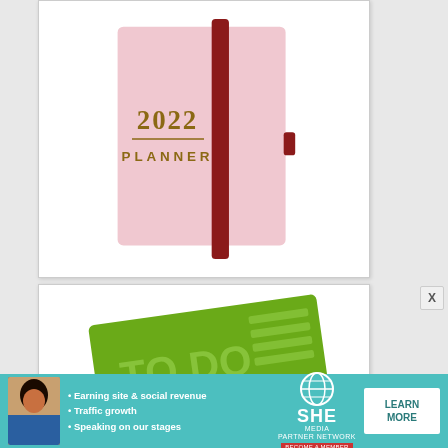[Figure (photo): Pink 2022 planner notebook with dark red elastic band closure, shown against white background]
[Figure (photo): Green 'TO DO' notepad with checklist lines, partially visible]
[Figure (photo): Advertisement banner for SHE Partner Network with teal background, woman photo, bullet points about earning site & social revenue, traffic growth, speaking on our stages, SHE logo, and Learn More button]